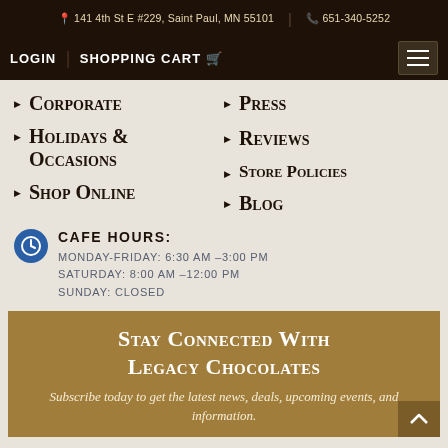141 4th St E #229, Saint Paul, MN 55101 | 651-340-5252
LOGIN | SHOPPING CART
Corporate
Press
Holidays & Occasions
Reviews
Shop Online
Store Policies
Blog
CAFE HOURS:
MONDAY-FRIDAY: 6:30 AM -3:00 PM
SATURDAY: 8:00 AM -12:00 PM
SUNDAY: CLOSED
Stay Connected With Legacy Chocolates
Subscribe today to get the latest news, deals, upcoming events, and information.